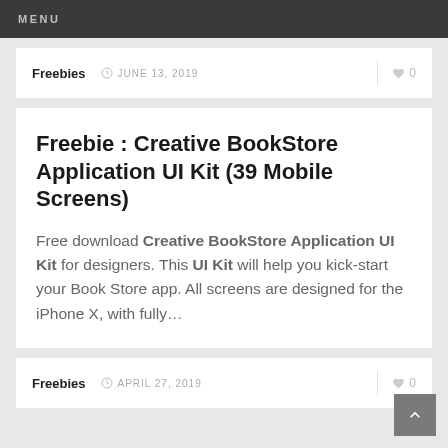MENU
Freebies   JUNE 13, 2019   ♥ 0
Freebie : Creative BookStore Application UI Kit (39 Mobile Screens)
Free download Creative BookStore Application UI Kit for designers. This UI Kit will help you kick-start your Book Store app. All screens are designed for the iPhone X, with fully…
Freebies   APRIL 27, 2019   ♥ 0